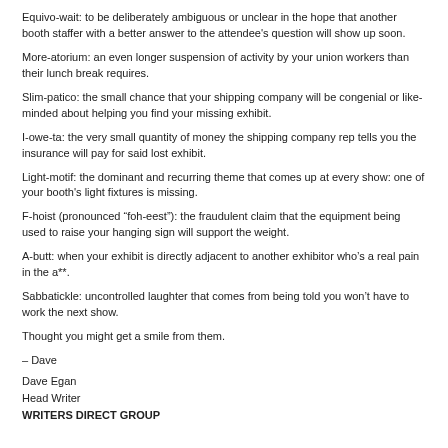Equivo-wait: to be deliberately ambiguous or unclear in the hope that another booth staffer with a better answer to the attendee's question will show up soon.
More-atorium: an even longer suspension of activity by your union workers than their lunch break requires.
Slim-patico: the small chance that your shipping company will be congenial or like-minded about helping you find your missing exhibit.
I-owe-ta: the very small quantity of money the shipping company rep tells you the insurance will pay for said lost exhibit.
Light-motif: the dominant and recurring theme that comes up at every show: one of your booth's light fixtures is missing.
F-hoist (pronounced “foh-eest”): the fraudulent claim that the equipment being used to raise your hanging sign will support the weight.
A-butt: when your exhibit is directly adjacent to another exhibitor who’s a real pain in the a**.
Sabbatickle: uncontrolled laughter that comes from being told you won’t have to work the next show.
Thought you might get a smile from them.
– Dave
Dave Egan
Head Writer
WRITERS DIRECT GROUP